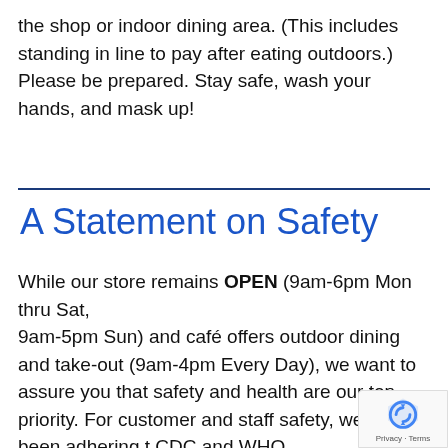the shop or indoor dining area. (This includes standing in line to pay after eating outdoors.) Please be prepared. Stay safe, wash your hands, and mask up!
A Statement on Safety
While our store remains OPEN (9am-6pm Mon thru Sat, 9am-5pm Sun) and café offers outdoor dining and take-out (9am-4pm Every Day), we want to assure you that safety and health are our top priority. For customer and staff safety, we have been adhering to CDC and WHO recommendations and augmented our already strict cleaning